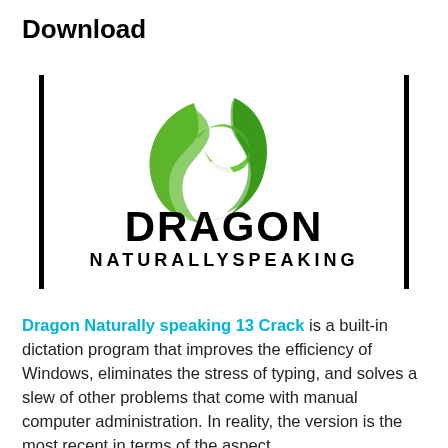Download
[Figure (logo): Dragon NaturallySpeaking logo with green flame/dragon shape icon above the text 'DRAGON' in bold black and 'NaturallySpeaking' in spaced uppercase, flanked by two vertical black bars on left and right.]
Dragon Naturally speaking 13 Crack is a built-in dictation program that improves the efficiency of Windows, eliminates the stress of typing, and solves a slew of other problems that come with manual computer administration. In reality, the version is the most recent in terms of the aspect